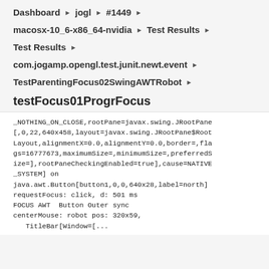Dashboard ▶ jogl ▶ #1449 ▶
macosx-10_6-x86_64-nvidia ▶ Test Results ▶
Test Results ▶
com.jogamp.opengl.test.junit.newt.event ▶
TestParentingFocus02SwingAWTRobot ▶
testFocus01ProgrFocus
_NOTHING_ON_CLOSE,rootPane=javax.swing.JRootPane
[,0,22,640x458,layout=javax.swing.JRootPane$Root
Layout,alignmentX=0.0,alignmentY=0.0,border=,fla
gs=16777673,maximumSize=,minimumSize=,preferredS
ize=],rootPaneCheckingEnabled=true],cause=NATIVE
_SYSTEM] on
java.awt.Button[button1,0,0,640x28,label=north]
requestFocus: click, d: 501 ms
FOCUS AWT  Button Outer sync
centerMouse: robot pos: 320x59,
   TitleBar[Window=[...